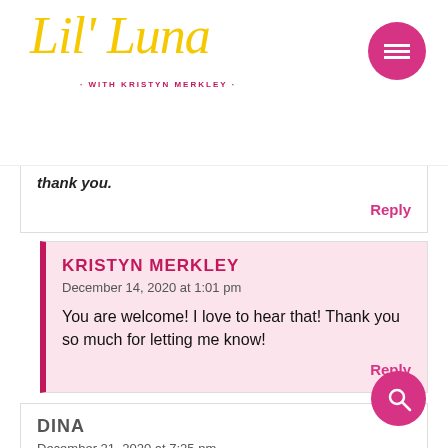Lil' Luna · WITH KRISTYN MERKLEY
thank you.
Reply
KRISTYN MERKLEY
December 14, 2020 at 1:01 pm
You are welcome! I love to hear that! Thank you so much for letting me know!
Reply
DINA
December 21, 2020 at 7:25 pm
★★★★★
Delightful!! I brought these to mother/ son bowling a while back and I was the most loved mom there! I've made these time and time again and they are